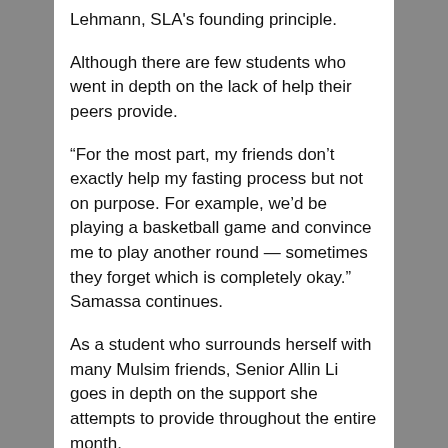Lehmann, SLA's founding principle.
Although there are few students who went in depth on the lack of help their peers provide.
“For the most part, my friends don’t exactly help my fasting process but not on purpose. For example, we’d be playing a basketball game and convince me to play another round — sometimes they forget which is completely okay.” Samassa continues.
As a student who surrounds herself with many Mulsim friends, Senior Allin Li goes in depth on the support she attempts to provide throughout the entire month.
“I try not to eat around those who are fasting just